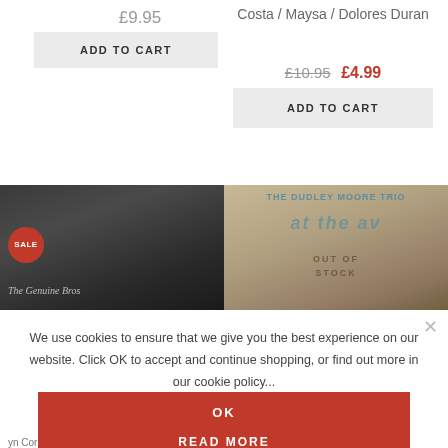£9.95
ADD TO CART
Costa / Maysa / Dolores Duran
£10.95 £4.99
ADD TO CART
[Figure (photo): Album cover with group of people, SALE badge overlay]
[Figure (photo): The Dudley Moore Trio album cover, OUT OF STOCK overlay]
We use cookies to ensure that we give you the best experience on our website. Click OK to accept and continue shopping, or find out more in our cookie policy...
OK
READ MORE
Dudley Moore Trio [...]
yn Cornell